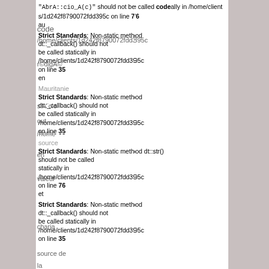"AbsA::cio_A(c)" should not be called statically in /home/clients/1d242f8790072fdd395c on line 76 au
Strict Standards: Non-static method dt::_callback() should not be called statically in /home/clients/1d242f8790072fdd395c on line 35 en
Strict Standards: Non-static method dt::_callback() should not be called statically in /home/clients/1d242f8790072fdd395c on line 35
Strict Standards: Non-static method dt::str() should not be called statically in /home/clients/1d242f8790072fdd395c on line 76 et
Strict Standards: Non-static method dt::_callback() should not be called statically in /home/clients/1d242f8790072fdd395c on line 35